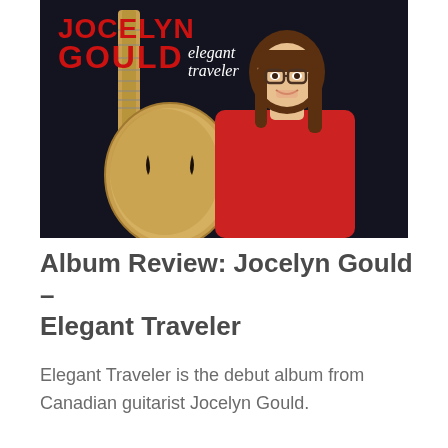[Figure (photo): Album cover for Jocelyn Gould – Elegant Traveler. A woman with brown hair, bangs, and round glasses, wearing a red short-sleeve top, smiling and sitting next to a large archtop acoustic guitar against a dark/black background. The artist name 'JOCELYN GOULD' appears in large red block letters top-left, with 'elegant traveler' in italic script below it.]
Album Review: Jocelyn Gould – Elegant Traveler
Elegant Traveler is the debut album from Canadian guitarist Jocelyn Gould.